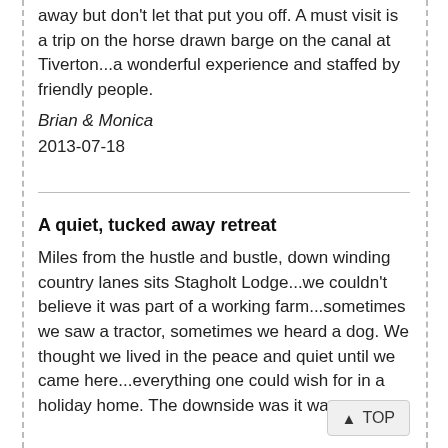away but don't let that put you off. A must visit is a trip on the horse drawn barge on the canal at Tiverton...a wonderful experience and staffed by friendly people.
Brian & Monica
2013-07-18
A quiet, tucked away retreat
Miles from the hustle and bustle, down winding country lanes sits Stagholt Lodge...we couldn't believe it was part of a working farm...sometimes we saw a tractor, sometimes we heard a dog. We thought we lived in the peace and quiet until we came here...everything one could wish for in a holiday home. The downside was it was